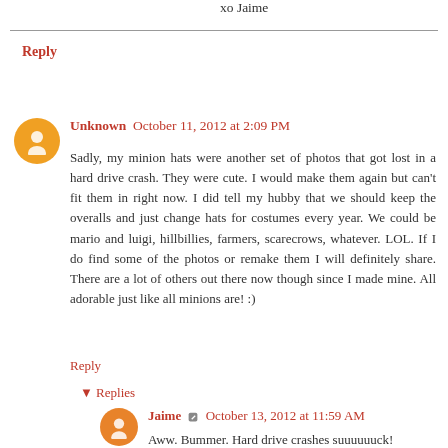xo Jaime
Reply
Unknown  October 11, 2012 at 2:09 PM
Sadly, my minion hats were another set of photos that got lost in a hard drive crash. They were cute. I would make them again but can't fit them in right now. I did tell my hubby that we should keep the overalls and just change hats for costumes every year. We could be mario and luigi, hillbillies, farmers, scarecrows, whatever. LOL. If I do find some of the photos or remake them I will definitely share. There are a lot of others out there now though since I made mine. All adorable just like all minions are! :)
Reply
▾ Replies
Jaime  October 13, 2012 at 11:59 AM
Aww. Bummer. Hard drive crashes suuuuuuck!